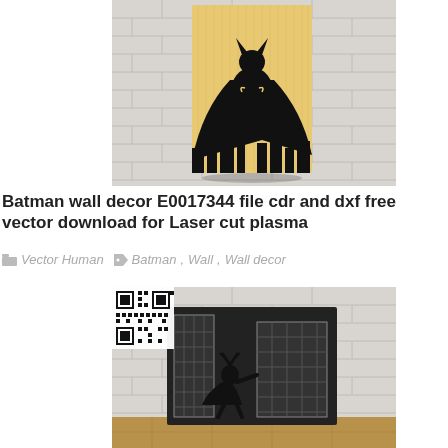[Figure (photo): Batman wooden wall art panel mounted on white brick wall – black silhouette of Batman flying over city skyline on light wood background]
Batman wall decor E0017344 file cdr and dxf free vector download for Laser cut plasma
Vector Human   Batman, Wall, Wall decor
[Figure (photo): Batman metal wall art panel on white brick wall – black laser-cut silhouette of Batman leaping between city buildings, with QR code overlay in top-left corner]